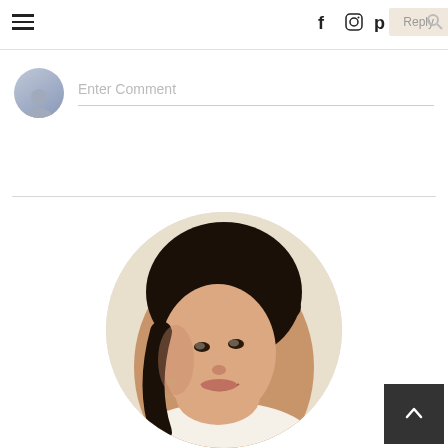Navigation header with hamburger menu, social icons (Facebook, Instagram, Pinterest, Search), and Reply button
Enter Comment
[Figure (photo): Circular profile photo of a smiling young woman with dark hair pulled back, wearing a white lace top, photographed against a light background]
[Figure (illustration): Back to top button (dark square with upward arrow chevron) in bottom-right corner]